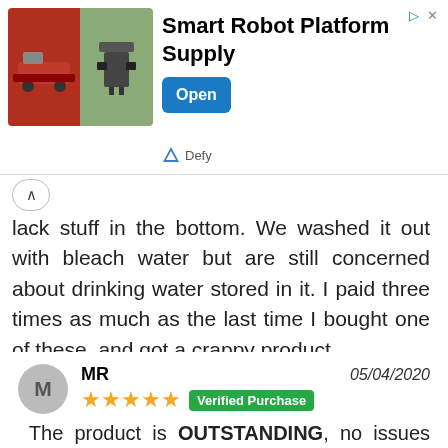[Figure (other): Ad banner for Smart Robot Platform Supply by Defy, with two product images on the left, title in center, and blue Open button on right.]
lack stuff in the bottom. We washed it out with bleach water but are still concerned about drinking water stored in it. I paid three times as much as the last time I bought one of these, and got a crappy product.
MR  05/04/2020
★★★★★  Verified Purchase
The product is OUTSTANDING, no issues with the Augason product.  I purchased this drum 06/27/19 for $74.99, and as of 04/05/2020 it is listed for $161.19.  I can understand a modest price increase but not this much.  Sorry,